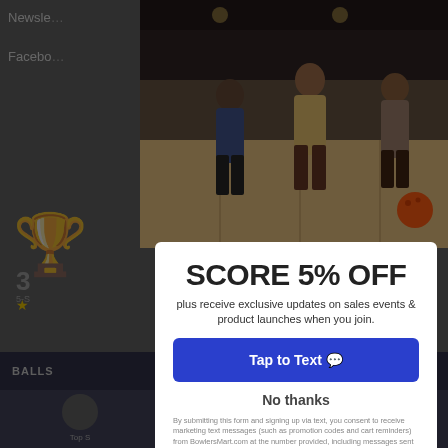[Figure (photo): People bowling at a bowling alley, action shot showing bowlers releasing balls on lanes]
SCORE 5% OFF
plus receive exclusive updates on sales events & product launches when you join.
Tap to Text 💬
No thanks
By submitting this form and signing up via text, you consent to receive marketing text messages (such as promotion codes and cart reminders) from BowlersMart.com at the number provided, including messages sent by autodialer. Consent is not a condition of any purchase. Message and data rates may apply. Message frequency varies. You can unsubscribe at any time by texting STOP or click here for our privacy policy.